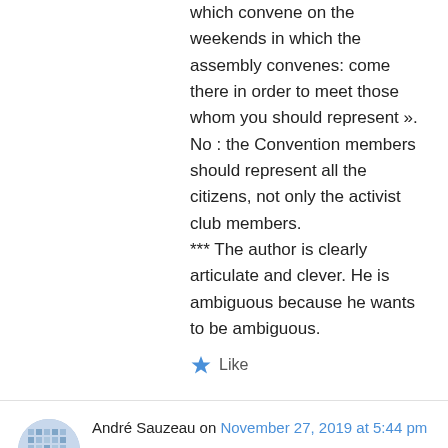of justice and of the climate throughout France which convene on the weekends in which the assembly convenes: come there in order to meet those whom you should represent ». No : the Convention members should represent all the citizens, not only the activist club members. *** The author is clearly articulate and clever. He is ambiguous because he wants to be ambiguous.
★ Like
André Sauzeau on November 27, 2019 at 5:44 pm
To Keith Sutherland. *** Neither the Gilets Jaunes nor the main activist groups belong to a specific ideological